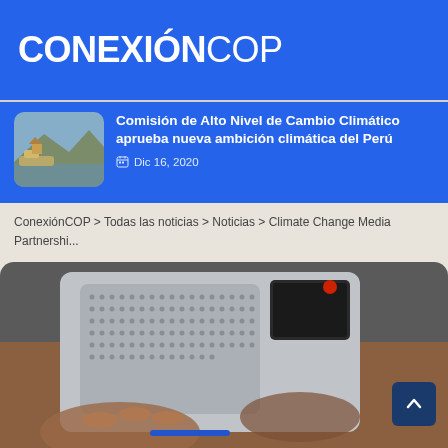CONEXIÓNCOP
Comisión de Alto Nivel de Cambio Climático aprueba nueva ambición climática del Perú
Dic 16, 2020
ConexiónCOP > Todas las noticias > Noticias > Climate Change Media Partnershi...
[Figure (photo): Close-up photograph of a person's hand holding a portable radio/recorder device with a dotted speaker grille, with another person's hand visible in background]